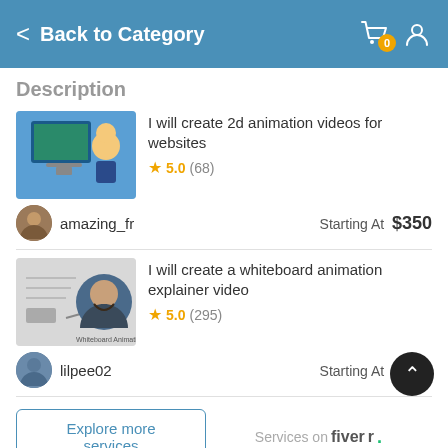Back to Category
Description
[Figure (screenshot): Thumbnail of 2D animation video for websites showing a cartoon character next to a monitor]
I will create 2d animation videos for websites
★ 5.0 (68)
amazing_fr   Starting At  $350
[Figure (screenshot): Thumbnail of whiteboard animation explainer video showing a man's portrait on whiteboard background]
I will create a whiteboard animation explainer video
★ 5.0 (295)
lilpee02   Starting At  $100
Explore more services
Services on fiverr.